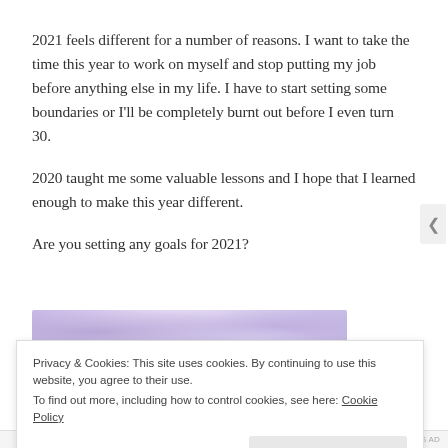2021 feels different for a number of reasons. I want to take the time this year to work on myself and stop putting my job before anything else in my life. I have to start setting some boundaries or I'll be completely burnt out before I even turn 30.
2020 taught me some valuable lessons and I hope that I learned enough to make this year different.
Are you setting any goals for 2021?
[Figure (photo): Partial view of a purple/lavender watercolor or floral image, cropped at bottom of visible content area.]
Privacy & Cookies: This site uses cookies. By continuing to use this website, you agree to their use.
To find out more, including how to control cookies, see here: Cookie Policy
REPORT THIS AD